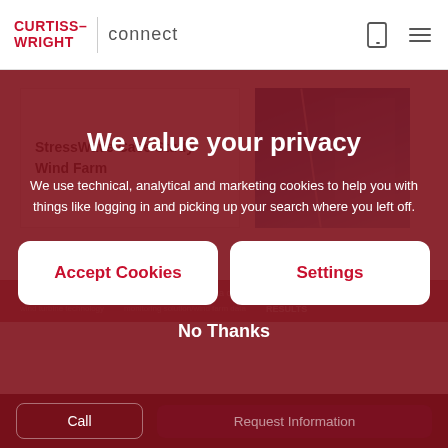CURTISS-WRIGHT connect
[Figure (screenshot): Partial view of a Curtiss-Wright Connect web page showing a StressWave Case Study Wind Farm card with a blue industrial equipment image]
We value your privacy
We use technical, analytical and marketing cookies to help you with things like logging in and picking up your search where you left off.
Accept Cookies
Settings
No Thanks